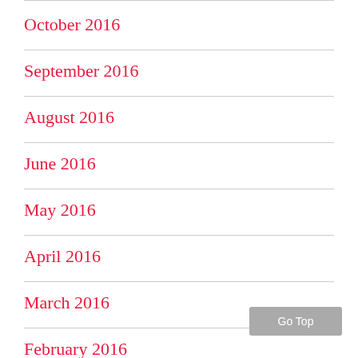October 2016
September 2016
August 2016
June 2016
May 2016
April 2016
March 2016
February 2016